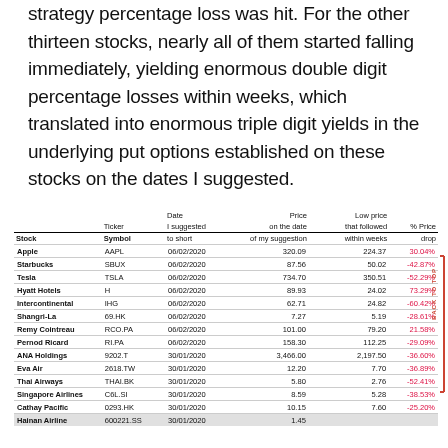strategy percentage loss was hit. For the other thirteen stocks, nearly all of them started falling immediately, yielding enormous double digit percentage losses within weeks, which translated into enormous triple digit yields in the underlying put options established on these stocks on the dates I suggested.
| Stock | Ticker Symbol | Date I suggested to short | Price on the date of my suggestion | Low price that followed within weeks | % Price drop |
| --- | --- | --- | --- | --- | --- |
| Apple | AAPL | 06/02/2020 | 320.09 | 224.37 | 30.04% |
| Starbucks | SBUX | 06/02/2020 | 87.56 | 50.02 | -42.87% |
| Tesla | TSLA | 06/02/2020 | 734.70 | 350.51 | -52.29% |
| Hyatt Hotels | H | 06/02/2020 | 89.93 | 24.02 | 73.29% |
| Intercontinental | IHG | 06/02/2020 | 62.71 | 24.82 | -60.42% |
| Shangri-La | 69.HK | 06/02/2020 | 7.27 | 5.19 | -28.61% |
| Remy Cointreau | RCO.PA | 06/02/2020 | 101.00 | 79.20 | 21.58% |
| Pernod Ricard | RI.PA | 06/02/2020 | 158.30 | 112.25 | -29.09% |
| ANA Holdings | 9202.T | 30/01/2020 | 3,466.00 | 2,197.50 | -36.60% |
| Eva Air | 2618.TW | 30/01/2020 | 12.20 | 7.70 | -36.89% |
| Thai Airways | THAI.BK | 30/01/2020 | 5.80 | 2.76 | -52.41% |
| Singapore Airlines | C6L.SI | 30/01/2020 | 8.59 | 5.28 | -38.53% |
| Cathay Pacific | 0293.HK | 30/01/2020 | 10.15 | 7.60 | -25.20% |
| Hainan Airline | 600221.SS | 30/01/2020 | 1.45 |  |  |